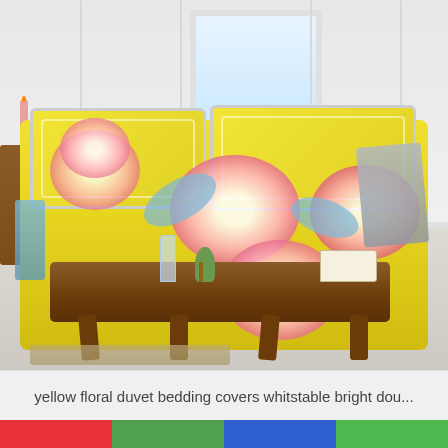[Figure (photo): A bedroom scene featuring a bed with a bright yellow floral duvet cover with pink and blue flowers (Whitstable design), multiple matching pillows, a wooden nightstand with a candle on the left, a rustic wooden bench at the foot of the bed with a glass bottle, small plant, and open book on it. The room has white paneled walls, a window in the background, and light painted wooden floors with a woven rug.]
yellow floral duvet bedding covers whitstable bright dou...